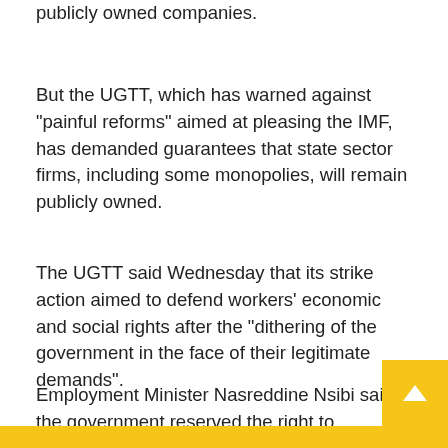publicly owned companies.
But the UGTT, which has warned against "painful reforms" aimed at pleasing the IMF, has demanded guarantees that state sector firms, including some monopolies, will remain publicly owned.
The UGTT said Wednesday that its strike action aimed to defend workers' economic and social rights after the "dithering of the government in the face of their legitimate demands".
Employment Minister Nasreddine Nsibi said the government reserved the right to requisition some workers to allow essential services to operate.
While the UGTT insists the strike is not political, it comes as President Kais Saied faces intense criticism for excluding ... part of a push